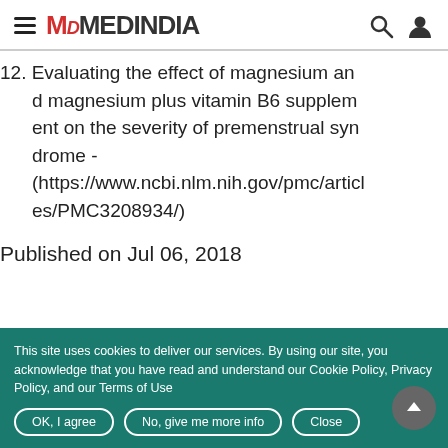MEDINDIA
12. Evaluating the effect of magnesium and magnesium plus vitamin B6 supplement on the severity of premenstrual syndrome - (https://www.ncbi.nlm.nih.gov/pmc/articles/PMC3208934/)
Published on Jul 06, 2018
This site uses cookies to deliver our services. By using our site, you acknowledge that you have read and understand our Cookie Policy, Privacy Policy, and our Terms of Use